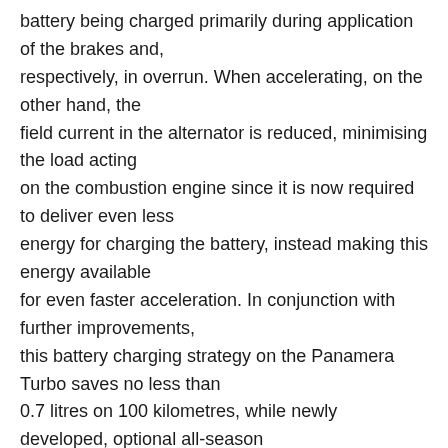battery being charged primarily during application of the brakes and, respectively, in overrun. When accelerating, on the other hand, the field current in the alternator is reduced, minimising the load acting on the combustion engine since it is now required to deliver even less energy for charging the battery, instead making this energy available for even faster acceleration. In conjunction with further improvements, this battery charging strategy on the Panamera Turbo saves no less than 0.7 litres on 100 kilometres, while newly developed, optional all-season tyres measuring 19 inches in diameter likewise serve